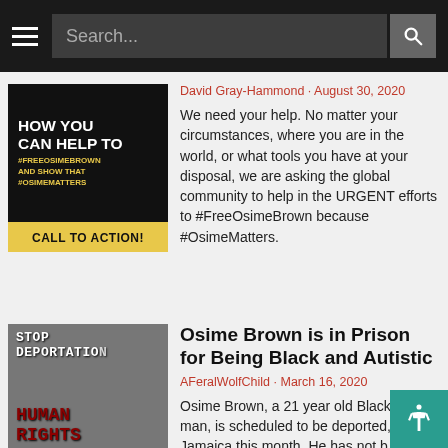Search...
[Figure (photo): Protest sign reading 'HOW YOU CAN HELP TO #FREEOSIMEBROWN AND SHOW THAT #OSIMEMATTERS CALL TO ACTION!']
David Gray-Hammond · August 30, 2020
We need your help. No matter your circumstances, where you are in the world, or what tools you have at your disposal, we are asking the global community to help in the URGENT efforts to #FreeOsimeBrown because #OsimeMatters.
[Figure (photo): Photo of protest signs reading 'STOP DEPORTATION' and 'HUMAN RIGHTS']
Osime Brown is in Prison for Being Black and Autistic
AFeralWolfChild · March 16, 2020
Osime Brown, a 21 year old Black autistic man, is scheduled to be deported, al... to Jamaica this month. He has not b... there since he was four years and h... support waiting for him.